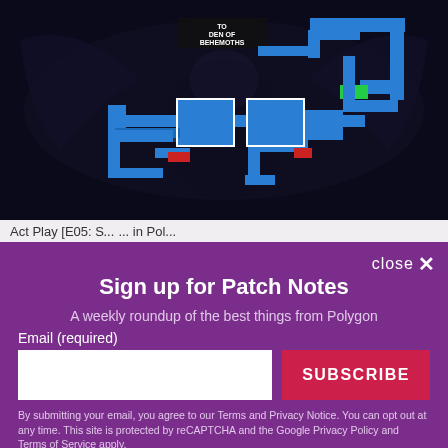[Figure (screenshot): A video game map screenshot showing a dungeon/maze layout with blue corridors and rooms on a dark background, with a label 'TO DEN OF BEHEMOTHS' and colored markers (green, red). The background shows a dark creature silhouette.]
Act Play [E05: S... ... in Pol...
close ✕
Sign up for Patch Notes
A weekly roundup of the best things from Polygon
Email (required)
SUBSCRIBE
By submitting your email, you agree to our Terms and Privacy Notice. You can opt out at any time. This site is protected by reCAPTCHA and the Google Privacy Policy and Terms of Service apply.